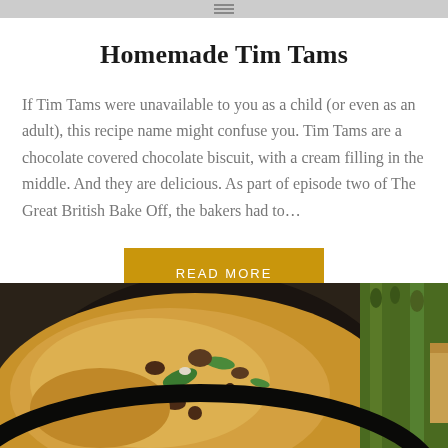Homemade Tim Tams
If Tim Tams were unavailable to you as a child (or even as an adult), this recipe name might confuse you. Tim Tams are a chocolate covered chocolate biscuit, with a cream filling in the middle. And they are delicious. As part of episode two of The Great British Bake Off, the bakers had to...
[Figure (other): READ MORE button in golden/amber color]
[Figure (photo): A cast iron skillet with a frittata or omelette filled with mushrooms, green peppers, and other vegetables. Partially visible on the right side is what appears to be grilled asparagus and bread.]